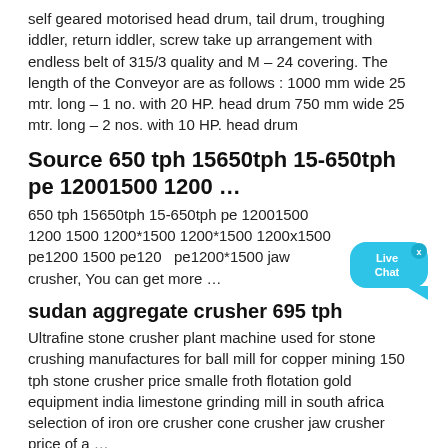self geared motorised head drum, tail drum, troughing iddler, return iddler, screw take up arrangement with endless belt of 315/3 quality and M – 24 covering. The length of the Conveyor are as follows : 1000 mm wide 25 mtr. long – 1 no. with 20 HP. head drum 750 mm wide 25 mtr. long – 2 nos. with 10 HP. head drum
Source 650 tph 15650tph 15-650tph pe 12001500 1200 …
650 tph 15650tph 15-650tph pe 12001500 1200 1500 1200*1500 1200*1500 1200x1500 pe1200 1500 pe1200 pe1200*1500 jaw crusher, You can get more …
sudan aggregate crusher 695 tph
Ultrafine stone crusher plant machine used for stone crushing manufactures for ball mill for copper mining 150 tph stone crusher price smalle froth flotation gold equipment india limestone grinding mill in south africa selection of iron ore crusher cone crusher jaw crusher price of a …
Jaw Crusher Price In Kyrgyzstan
New Type Jaw Crusher Price in Kyrgyzstan | portable crusher for sale. Home >> Stone Crusher For Sale >> New Type Jaw Crusher Price in Kyrgyzstan.Jaw Crusher For Sale Jaw Crusher is mainly used to crush kinds of mining stones primarily, and the largest compression resistance of the